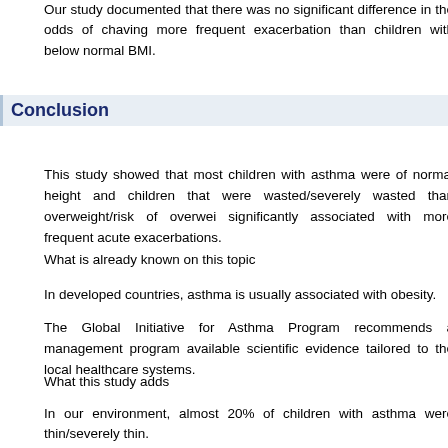Our study documented that there was no significant difference in the odds of children having more frequent exacerbation than children with below normal BMI.
Conclusion
This study showed that most children with asthma were of normal height and children that were wasted/severely wasted than overweight/risk of overweight, significantly associated with more frequent acute exacerbations.
What is already known on this topic
In developed countries, asthma is usually associated with obesity.
The Global Initiative for Asthma Program recommends a management program available scientific evidence tailored to the local healthcare systems.
What this study adds
In our environment, almost 20% of children with asthma were thin/severely thin.
Obesity was not found in children with asthma.
In our environment, height and BMI were not found to be significantly associated with exacerbations.